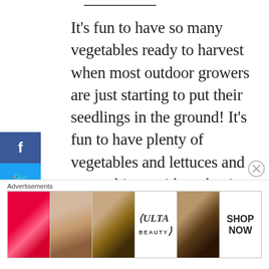It's fun to have so many vegetables ready to harvest when most outdoor growers are just starting to put their seedlings in the ground! It's fun to have plenty of vegetables and lettuces and green things without having to go to the store too often. And It's incredibly fun to watch these things grow completely in the environment
[Figure (other): Social media share buttons on left sidebar: Facebook (blue), Twitter (light blue), Pinterest (red), Email (grey)]
Advertisements
[Figure (photo): Ulta Beauty advertisement banner showing beauty/makeup imagery with lips, brush, eyes, Ulta logo, and SHOP NOW text]